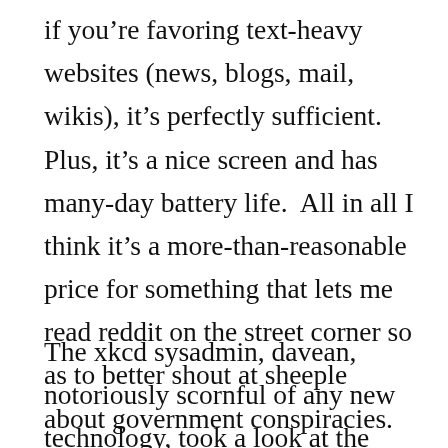if you're favoring text-heavy websites (news, blogs, mail, wikis), it's perfectly sufficient. Plus, it's a nice screen and has many-day battery life.  All in all I think it's a more-than-reasonable price for something that lets me read reddit on the street corner so as to better shout at sheeple about government conspiracies.
The xkcd sysadmin, davean, notoriously scornful of any new technology, took a look at the Kindle 2 after it arrived this afternoon.